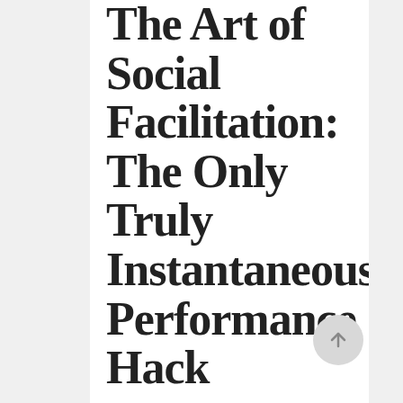The Art of Social Facilitation: The Only Truly Instantaneous Performance Hack
Posted at 09:37h in Communication & Rapport, Entrepreneurship, Productivity by Scott
"Change your surroundings. Change something." Social Facilitation & The...